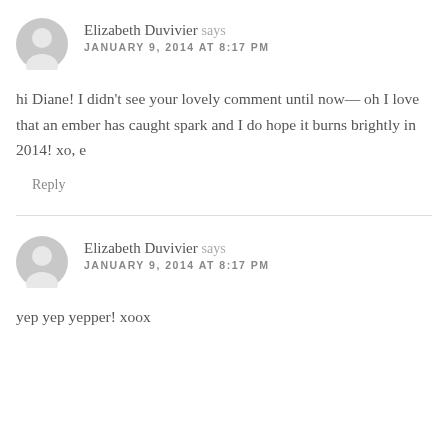Elizabeth Duvivier says
JANUARY 9, 2014 AT 8:17 PM
hi Diane! I didn't see your lovely comment until now— oh I love that an ember has caught spark and I do hope it burns brightly in 2014! xo, e
Reply
Elizabeth Duvivier says
JANUARY 9, 2014 AT 8:17 PM
yep yep yepper! xoox